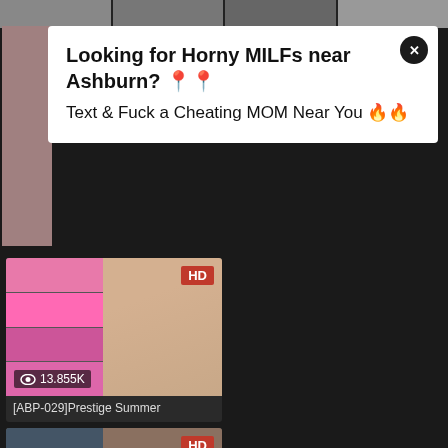[Figure (screenshot): Top strip of video thumbnails]
[Figure (screenshot): Ad popup with woman photo on left, text: Looking for Horny MILFs near Ashburn? Text & Fuck a Cheating MOM Near You]
Looking for Horny MILFs near Ashburn? 📍📍
Text & Fuck a Cheating MOM Near You 🔥🔥
[Figure (screenshot): Video thumbnail for ABP-029 with HD badge, 13.855K views]
[ABP-029]Prestige Summer
[Figure (screenshot): Video thumbnail for ABP-055 with HD badge, 13.784K views]
[ABP-055]Derived From An
[Figure (screenshot): Video thumbnail for ABP-069 with HD badge, 14.868K views]
[ABP-069]MOTTO ENJOY